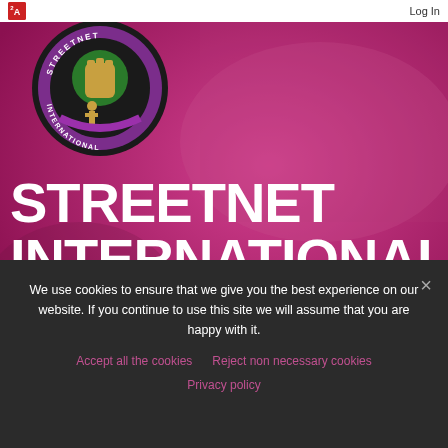Log In
[Figure (logo): StreetNet International circular logo with globe, fist, and text around border]
STREETNET INTERNATIONAL
International Alliance of Street Vendors
[Figure (illustration): Social media icon row: Twitter, Instagram, Facebook, and two more icons]
We use cookies to ensure that we give you the best experience on our website. If you continue to use this site we will assume that you are happy with it.
Accept all the cookies   Reject non necessary cookies
Privacy policy